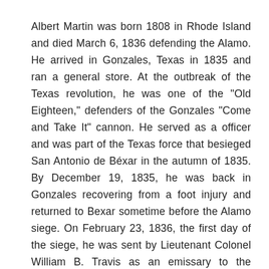Albert Martin was born 1808 in Rhode Island and died March 6, 1836 defending the Alamo. He arrived in Gonzales, Texas in 1835 and ran a general store. At the outbreak of the Texas revolution, he was one of the "Old Eighteen," defenders of the Gonzales "Come and Take It" cannon. He served as a officer and was part of the Texas force that besieged San Antonio de Béxar in the autumn of 1835. By December 19, 1835, he was back in Gonzales recovering from a foot injury and returned to Bexar sometime before the Alamo siege. On February 23, 1836, the first day of the siege, he was sent by Lieutenant Colonel William B. Travis as an emissary to the Mexican force. He met General Antonio López de Santa Anna's adjutant,